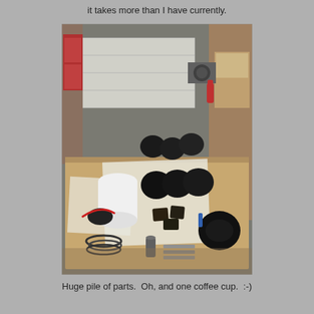it takes more than I have currently.
[Figure (photo): A workshop table covered with a large pile of black mechanical parts (appears to be engine or air intake components), cables/rings, small metal rods, a paper roll, and a coffee cup, set in a garage workshop with shelving and equipment in the background.]
Huge pile of parts.  Oh, and one coffee cup.  :-)